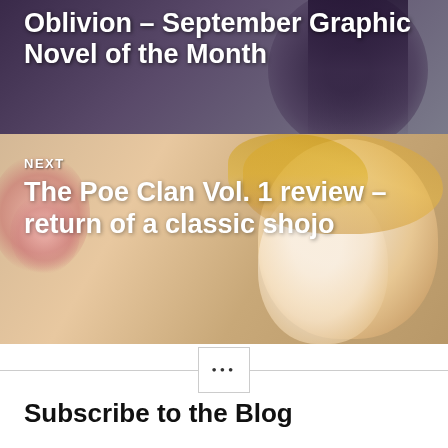[Figure (photo): Top banner image showing a dark-themed graphic novel cover with purple and grey tones, partially visible title text]
Oblivion – September Graphic Novel of the Month
[Figure (photo): Next article banner showing anime/shojo manga illustration with blonde characters, roses, warm golden tones]
NEXT
The Poe Clan Vol. 1 review – return of a classic shojo
•••
Subscribe to the Blog